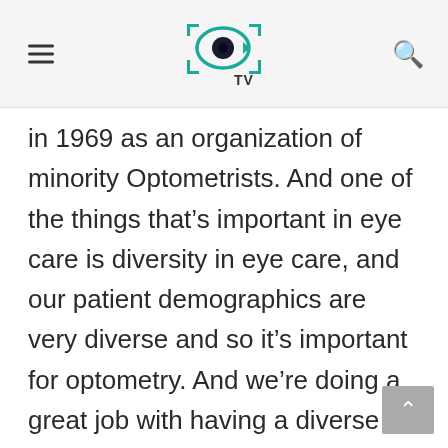EyeTV
in 1969 as an organization of minority Optometrists. And one of the things that’s important in eye care is diversity in eye care, and our patient demographics are very diverse and so it’s important for optometry. And we’re doing a great job with having a diverse doctor population. So the NOA, our mission is advancing the visual health, excuse me, of minority population. So we are doing our best to increase